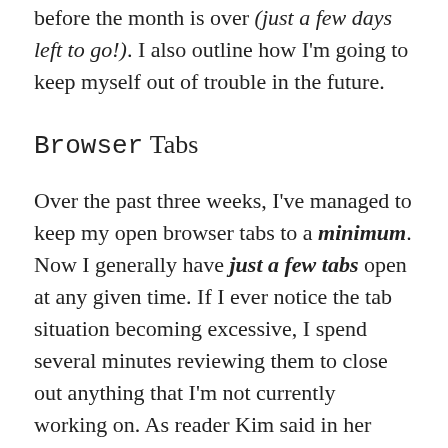before the month is over (just a few days left to go!). I also outline how I'm going to keep myself out of trouble in the future.
Browser Tabs
Over the past three weeks, I've managed to keep my open browser tabs to a minimum. Now I generally have just a few tabs open at any given time. If I ever notice the tab situation becoming excessive, I spend several minutes reviewing them to close out anything that I'm not currently working on. As reader Kim said in her astute comment on